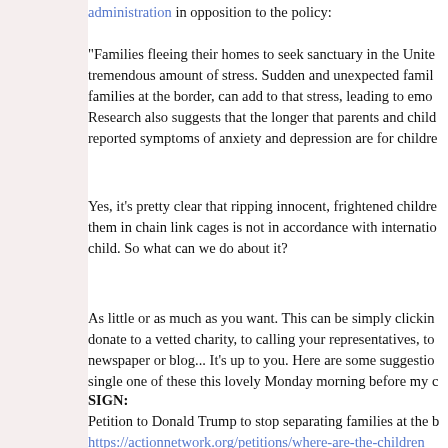administration in opposition to the policy:
"Families fleeing their homes to seek sanctuary in the United States are under a tremendous amount of stress. Sudden and unexpected family separation, including families at the border, can add to that stress, leading to emotional crises. Research also suggests that the longer that parents and children are separated, the reported symptoms of anxiety and depression are for children."
Yes, it's pretty clear that ripping innocent, frightened children from their parents and putting them in chain link cages is not in accordance with international standards for the treatment of a child. So what can we do about it?
As little or as much as you want. This can be simply clicking a link to donate to a vetted charity, to calling your representatives, to writing a newspaper or blog... It's up to you. Here are some suggestions. I completed every single one of these this lovely Monday morning before my coffee.
SIGN: Petition to Donald Trump to stop separating families at the border: https://actionnetwork.org/petitions/where-are-the-children